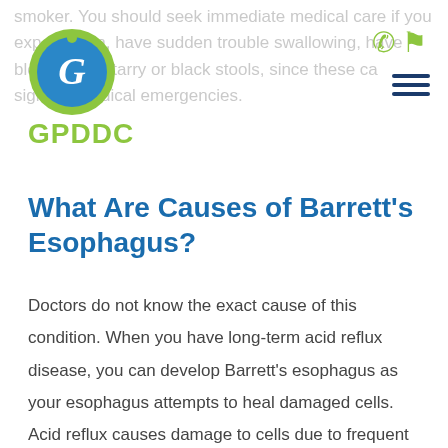smoker. You should seek immediate medical care if you experience chest pain, have sudden trouble swallowing, have bloody stools or have tarry or black stools, since these can be signs of medical emergencies.
[Figure (logo): GPDDC logo: circular emblem with green outer ring and blue inner circle containing a stylized 'G' letter in white, with 'GPDDC' text in green below]
What Are Causes of Barrett's Esophagus?
Doctors do not know the exact cause of this condition. When you have long-term acid reflux disease, you can develop Barrett's esophagus as your esophagus attempts to heal damaged cells. Acid reflux causes damage to cells due to frequent exposure to acidic stomach contents. As the esophagus tries to heal, the kinds of cells in it can undergo changes that resemble intestinal cell tissue. In some cases,